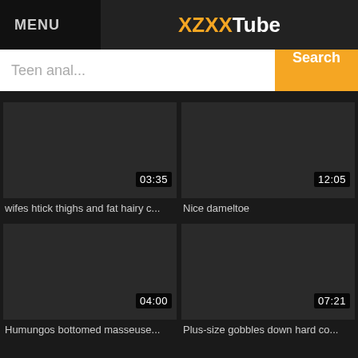MENU | XZXXTube
Teen anal... Search
[Figure (screenshot): Video thumbnail dark background with duration 03:35]
wifes htick thighs and fat hairy c...
[Figure (screenshot): Video thumbnail dark background with duration 12:05]
Nice dameltoe
[Figure (screenshot): Video thumbnail dark background with duration 04:00]
Humungos bottomed masseuse...
[Figure (screenshot): Video thumbnail dark background with duration 07:21]
Plus-size gobbles down hard co...